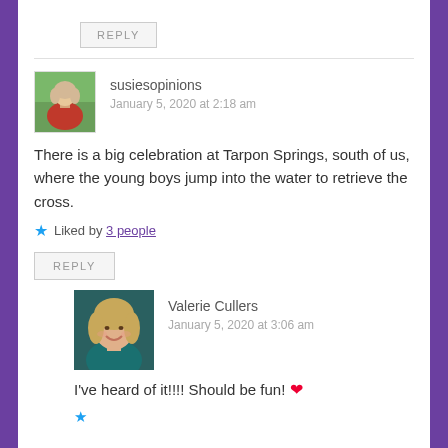REPLY
susiesopinions
January 5, 2020 at 2:18 am
There is a big celebration at Tarpon Springs, south of us, where the young boys jump into the water to retrieve the cross.
Liked by 3 people
REPLY
Valerie Cullers
January 5, 2020 at 3:06 am
I've heard of it!!!! Should be fun! ❤